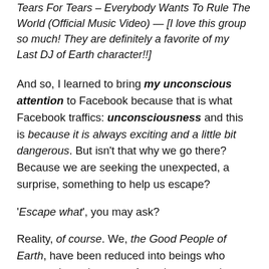Tears For Tears – Everybody Wants To Rule The World (Official Music Video) — [I love this group so much! They are definitely a favorite of my Last DJ of Earth character!!]
And so, I learned to bring my unconscious attention to Facebook because that is what Facebook traffics: unconsciousness and this is because it is always exciting and a little bit dangerous. But isn't that why we go there? Because we are seeking the unexpected, a surprise, something to help us escape?
'Escape what', you may ask?
Reality, of course. We, the Good People of Earth, have been reduced into beings who constantly seek escape from the extremely boring social containers we are forced to exist inside. We do this because that is the price of gaining the luxurious privileges of living inside the container of a modern Westernized civilization. But, of